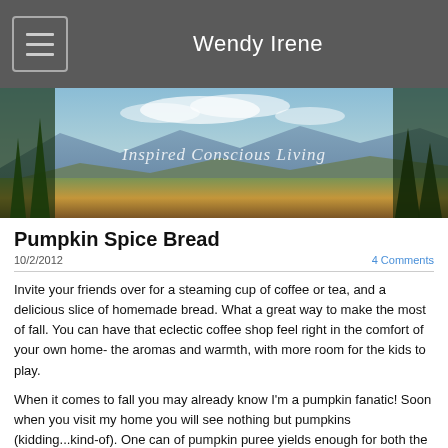Wendy Irene
[Figure (photo): Banner photo of mountain landscape with pine trees, blue sky with clouds, and autumn foliage. Text overlay reads 'Inspired Conscious Living' in italic script.]
Pumpkin Spice Bread
10/2/2012
4 Comments
Invite your friends over for a steaming cup of coffee or tea, and a delicious slice of homemade bread. What a great way to make the most of fall. You can have that eclectic coffee shop feel right in the comfort of your own home- the aromas and warmth, with more room for the kids to play.
When it comes to fall you may already know I'm a pumpkin fanatic! Soon when you visit my home you will see nothing but pumpkins (kidding...kind-of). One can of pumpkin puree yields enough for both the pumpkin spice bread and a batch or 2 of pumpkins pancakes. because we don't want any pumpkin to go to waste this